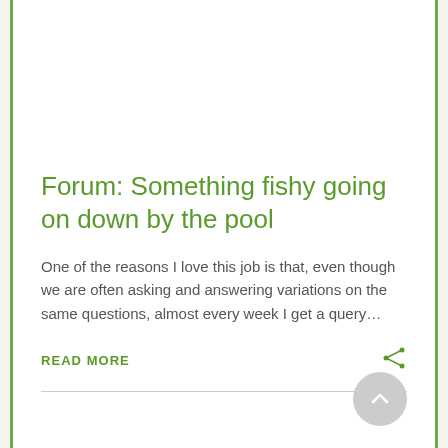Forum: Something fishy going on down by the pool
One of the reasons I love this job is that, even though we are often asking and answering variations on the same questions, almost every week I get a query…
READ MORE